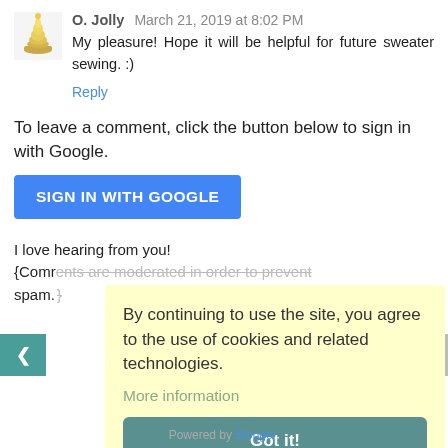O. Jolly  March 21, 2019 at 8:02 PM
My pleasure! Hope it will be helpful for future sweater sewing. :)
Reply
To leave a comment, click the button below to sign in with Google.
SIGN IN WITH GOOGLE
I love hearing from you!
{Comments are moderated in order to prevent spam.}
[Figure (screenshot): Cookie consent overlay with yellow background. Text: 'By continuing to use the site, you agree to the use of cookies and related technologies.' Link: 'More information'. Button: 'Got it!']
Powered by Blogger.